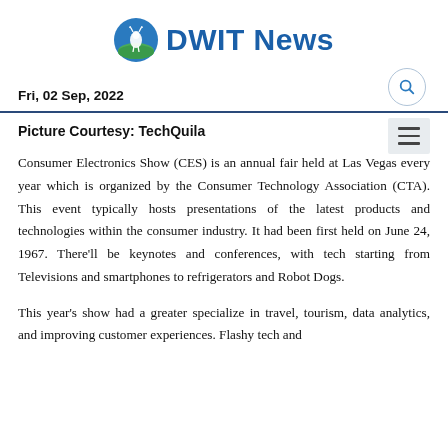DWIT News
Fri, 02 Sep, 2022
Picture Courtesy: TechQuila
Consumer Electronics Show (CES) is an annual fair held at Las Vegas every year which is organized by the Consumer Technology Association (CTA). This event typically hosts presentations of the latest products and technologies within the consumer industry. It had been first held on June 24, 1967. There'll be keynotes and conferences, with tech starting from Televisions and smartphones to refrigerators and Robot Dogs.
This year's show had a greater specialize in travel, tourism, data analytics, and improving customer experiences. Flashy tech and